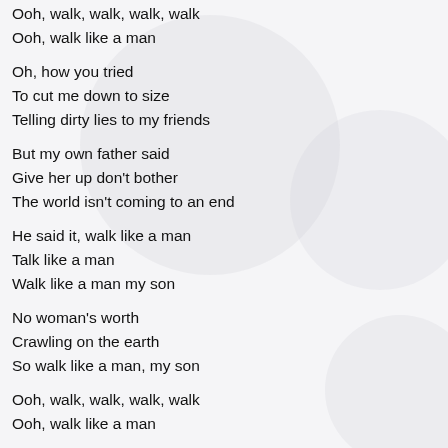Ooh, walk, walk, walk, walk
Ooh, walk like a man
Oh, how you tried
To cut me down to size
Telling dirty lies to my friends
But my own father said
Give her up don't bother
The world isn't coming to an end
He said it, walk like a man
Talk like a man
Walk like a man my son
No woman's worth
Crawling on the earth
So walk like a man, my son
Ooh, walk, walk, walk, walk
Ooh, walk like a man